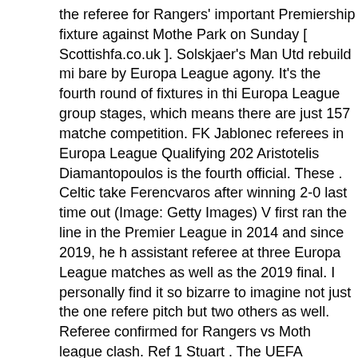the referee for Rangers' important Premiership fixture against Motherwell Park on Sunday [ Scottishfa.co.uk ]. Solskjaer's Man Utd rebuild mi bare by Europa League agony. It's the fourth round of fixtures in thi Europa League group stages, which means there are just 157 matche competition. FK Jablonec referees in Europa League Qualifying 202 Aristotelis Diamantopoulos is the fourth official. These . Celtic take Ferencvaros after winning 2-0 last time out (Image: Getty Images) V first ran the line in the Premier League in 2014 and since 2019, he h assistant referee at three Europa League matches as well as the 2019 final. I personally find it so bizarre to imagine not just the one refere pitch but two others as well. Referee confirmed for Rangers vs Moth league clash. Ref 1 Stuart . The UEFA Referees Committee also ann Frenchman Clément Turpin will referee the 2021 UEFA Europa Lea between Villarreal CF and Manchester United FC, be played at Gda Stadium, Poland on Wednesday 26 May at 20:00 BST / 21:00 CET. League referees have finally learned their lessons - and improveme overdue. Celtic's Europa League ambitions hang in the balance ahea massive trip to face Bayer Leverkusen. RC Genk referees in Europa 2021/2022. Europa League; Fixtures & Results; Ferencváros v Celti Introducing: Bad Blood on BT Sport . 2021 Sky Bet Championship Final Match Official Appointment . A new unified super-middlewei